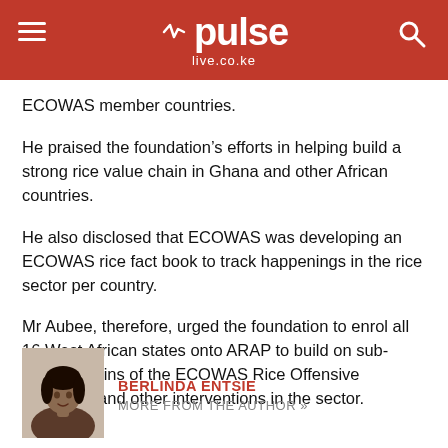pulse live.co.ke
ECOWAS member countries.
He praised the foundation’s efforts in helping build a strong rice value chain in Ghana and other African countries.
He also disclosed that ECOWAS was developing an ECOWAS rice fact book to track happenings in the rice sector per country.
Mr Aubee, therefore, urged the foundation to enrol all 16 West African states onto ARAP to build on sub-regional gains of the ECOWAS Rice Offensive Programs and other interventions in the sector.
[Figure (photo): Author photo of Berlinda Entsie]
BERLINDA ENTSIE
MORE FROM THE AUTHOR »